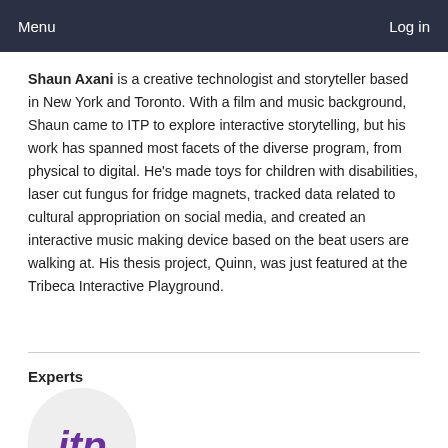Menu    Log in
Shaun Axani is a creative technologist and storyteller based in New York and Toronto. With a film and music background, Shaun came to ITP to explore interactive storytelling, but his work has spanned most facets of the diverse program, from physical to digital. He's made toys for children with disabilities, laser cut fungus for fridge magnets, tracked data related to cultural appropriation on social media, and created an interactive music making device based on the beat users are walking at. His thesis project, Quinn, was just featured at the Tribeca Interactive Playground.
Experts
[Figure (logo): ITP logo in purple italic text inside a light grey circle]